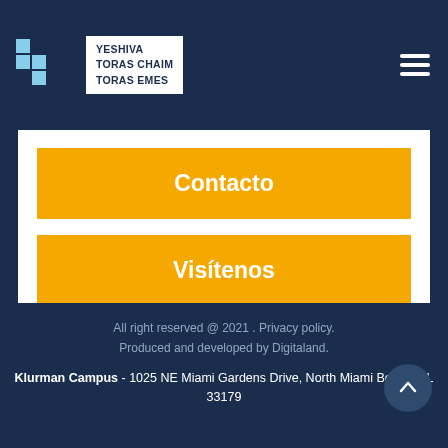YESHIVA TORAS CHAIM TORAS EMES
Contacto
Visítenos
Aplicar
All right reserved @ 2021 . Privacy policy. Produced and developed by Digitaland. Klurman Campus - 1025 NE Miami Gardens Drive, North Miami Beach, FL 33179